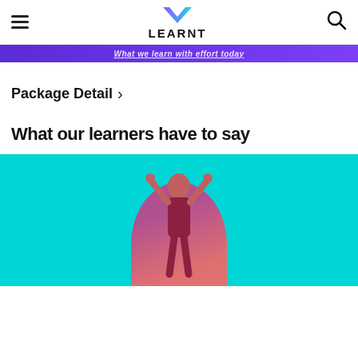LEARNT
What we learn with effort today
Package Detail >
What our learners have to say
[Figure (photo): Person with arms raised in celebration, shown against a pink/purple circular background on a cyan/turquoise background]